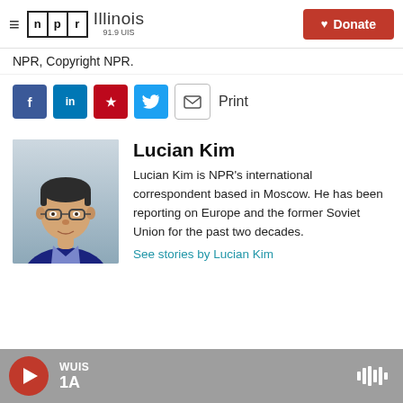NPR Illinois 91.9 UIS — Donate
NPR, Copyright NPR.
[Figure (infographic): Social sharing buttons: Facebook, LinkedIn, Pinterest, Twitter, Email, Print]
[Figure (photo): Headshot photo of Lucian Kim]
Lucian Kim
Lucian Kim is NPR's international correspondent based in Moscow. He has been reporting on Europe and the former Soviet Union for the past two decades.
See stories by Lucian Kim
WUIS 1A